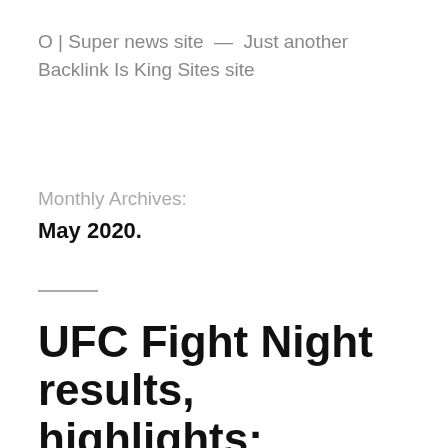O | Super news site — Just another Backlink Is King Sites site
Monthly Archives:
May 2020.
UFC Fight Night results, highlights: Gilbert Burns dominates Tyron